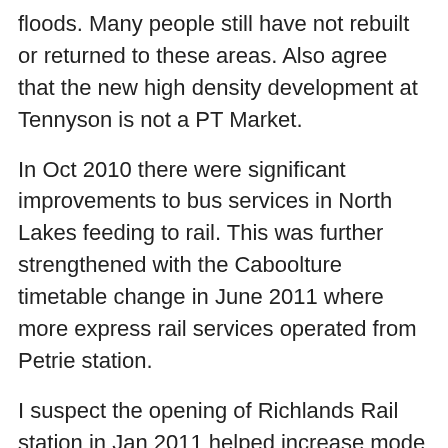floods. Many people still have not rebuilt or returned to these areas. Also agree that the new high density development at Tennyson is not a PT Market.
In Oct 2010 there were significant improvements to bus services in North Lakes feeding to rail. This was further strengthened with the Caboolture timetable change in June 2011 where more express rail services operated from Petrie station.
I suspect the opening of Richlands Rail station in Jan 2011 helped increase mode share in Inala. The very large park n ride was full from day one. Bus services were also restructured to feed to Richlands and Darra station.